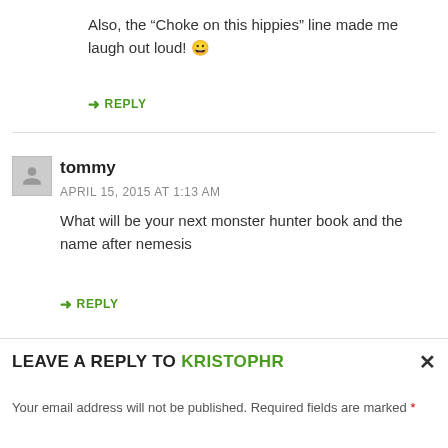Also, the “Choke on this hippies” line made me laugh out loud! 😀
↳ REPLY
tommy
APRIL 15, 2015 AT 1:13 AM
What will be your next monster hunter book and the name after nemesis
↳ REPLY
LEAVE A REPLY TO KRISTOPHR
Your email address will not be published. Required fields are marked *